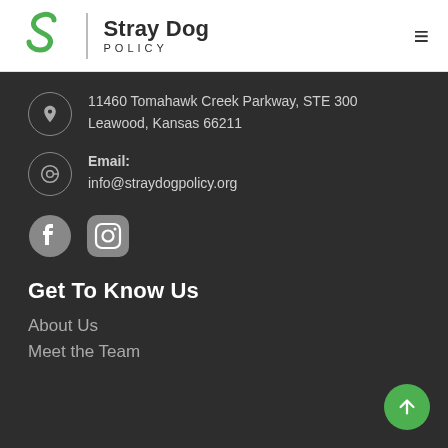Stray Dog Policy
11460 Tomahawk Creek Parkway, STE 300
Leawood, Kansas 66211
Email:
info@straydogpolicy.org
[Figure (logo): Facebook and Instagram social media icons in white on dark background]
Get To Know Us
About Us
Meet the Team